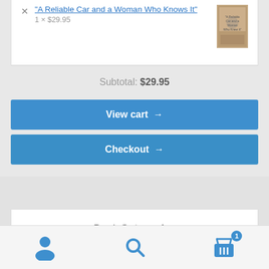"A Reliable Car and a Woman Who Knows It"
1 × $29.95
Subtotal: $29.95
View cart →
Checkout →
Book Categories